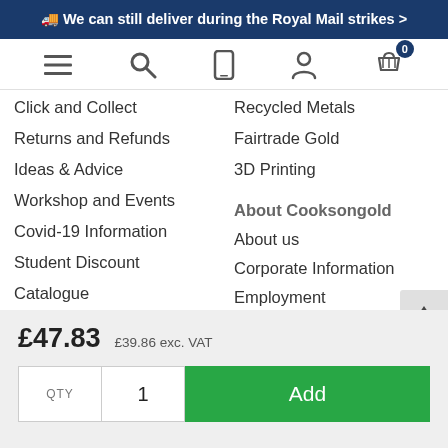🚚 We can still deliver during the Royal Mail strikes >
[Figure (screenshot): Navigation bar with hamburger menu, search, mobile, account and basket icons (basket showing 0 items badge)]
Click and Collect
Recycled Metals
Returns and Refunds
Fairtrade Gold
Ideas & Advice
3D Printing
Workshop and Events
Covid-19 Information
Student Discount
Catalogue
About Cooksongold
About us
Corporate Information
Employment
Useful Trade Links
£47.83  £39.86 exc. VAT
QTY  1  Add